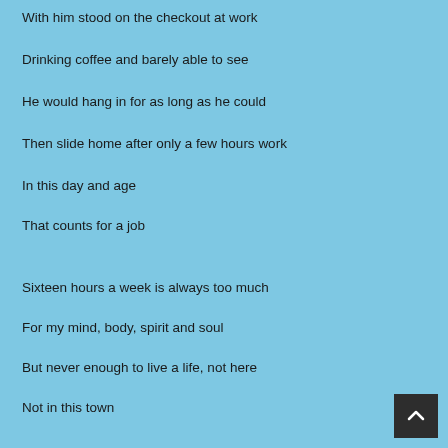With him stood on the checkout at work
Drinking coffee and barely able to see
He would hang in for as long as he could
Then slide home after only a few hours work
In this day and age
That counts for a job
Sixteen hours a week is always too much
For my mind, body, spirit and soul
But never enough to live a life, not here
Not in this town